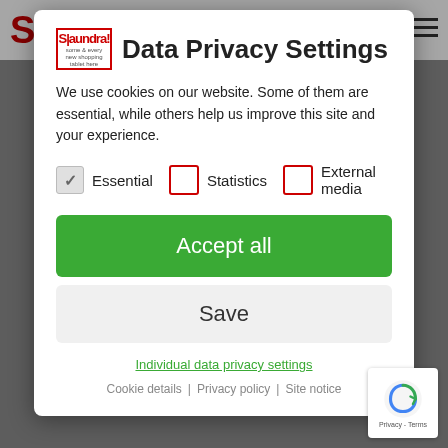[Figure (screenshot): Website background with header showing S logo and hamburger menu, dimmed with overlay]
Data Privacy Settings
We use cookies on our website. Some of them are essential, while others help us improve this site and your experience.
Essential (checked)
Statistics (unchecked)
External media (unchecked)
Accept all
Save
Individual data privacy settings
Cookie details | Privacy policy | Site notice